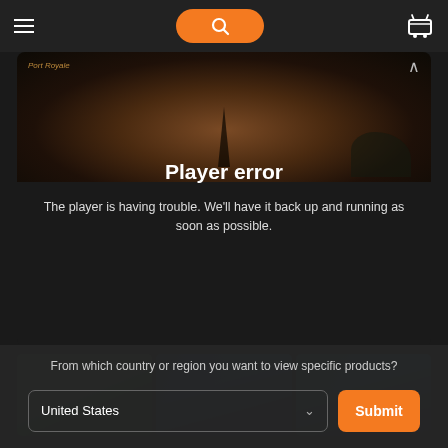[Figure (screenshot): Navigation bar with hamburger menu, orange search button, and shopping cart icon on dark background]
[Figure (screenshot): Video player area showing a dark nautical scene with a ship at sunset, displaying a 'Player error' message saying 'The player is having trouble. We'll have it back up and running as soon as possible.']
Player error
The player is having trouble. We'll have it back up and running as soon as possible.
[Figure (screenshot): Row of three video thumbnail images showing tropical island game scenes]
From which country or region you want to view specific products?
[Figure (screenshot): Country selector dropdown showing 'United States' with a Submit button]